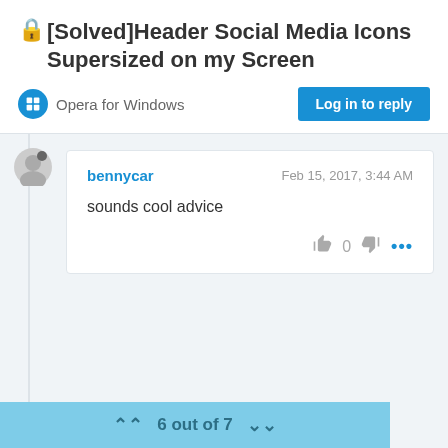🔒[Solved]Header Social Media Icons Supersized on my Screen
Opera for Windows
Log in to reply
bennycar  Feb 15, 2017, 3:44 AM
sounds cool advice
6 out of 7